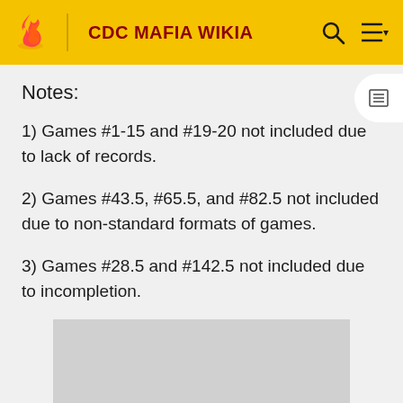CDC MAFIA WIKIA
Notes:
1) Games #1-15 and #19-20 not included due to lack of records.
2) Games #43.5, #65.5, and #82.5 not included due to non-standard formats of games.
3) Games #28.5 and #142.5 not included due to incompletion.
[Figure (other): Gray advertisement placeholder box]